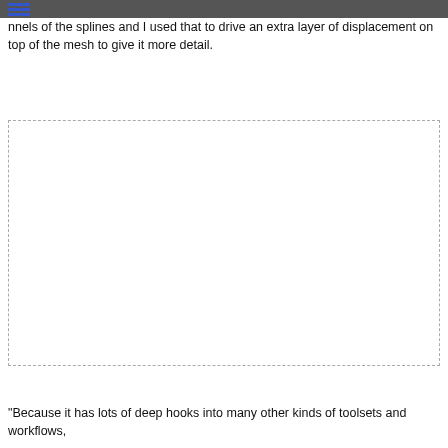nnels of the splines and I used that to drive an extra layer of displacement on top of the mesh to give it more detail.
[Figure (photo): Large image placeholder region with dashed border, content not visible]
"Because it has lots of deep hooks into many other kinds of toolsets and workflows,